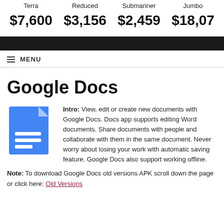| Terra | Reduced | Submariner | Jumbo |
| --- | --- | --- | --- |
| $7,600 | $3,156 | $2,459 | $18,07… |
≡ MENU
Google Docs
[Figure (logo): Google Docs blue document icon with white lines]
Intro: View, edit or create new documents with Google Docs. Docs app supports editing Word documents. Share documents with people and collaborate with them in the same document. Never worry about losing your work with automatic saving feature. Google Docs also support working offline.
Note: To download Google Docs old versions APK scroll down the page or click here: Old Versions